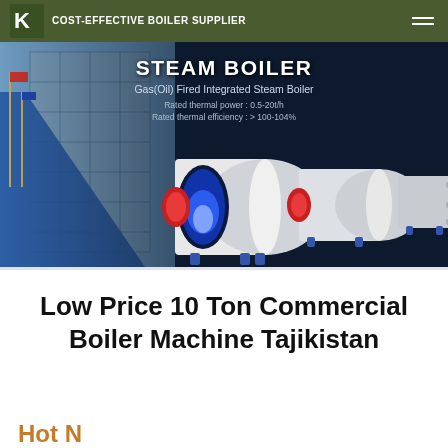COST-EFFECTIVE BOILER SUPPLIER
[Figure (photo): Steam boiler product promotional image showing Gas(Oil) Fired Integrated Steam Boiler with three boiler units on dark navy background, with a building exterior on the left. Text: STEAM BOILER, Gas(Oil) Fired Integrated Steam Boiler, Rated thermal power: 0.5-20t/h, Rated thermal efficiency: > 100-104%]
Low Price 10 Ton Commercial Boiler Machine Tajikistan
Hot N...